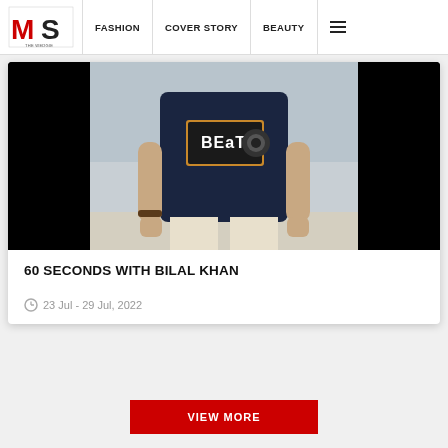MG THE WEDGIE — FASHION | COVER STORY | BEAUTY
[Figure (photo): A man wearing a navy blue graphic t-shirt with 'BEAT' text/logo, standing outdoors against a blurred landscape background. Black panels flank the image on left and right.]
60 SECONDS WITH BILAL KHAN
23 Jul - 29 Jul, 2022
VIEW MORE